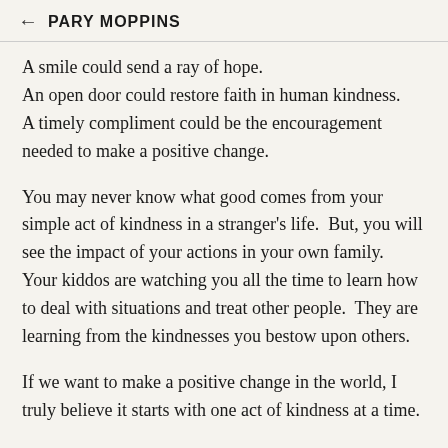← PARY MOPPINS
A smile could send a ray of hope.
An open door could restore faith in human kindness.
A timely compliment could be the encouragement needed to make a positive change.
You may never know what good comes from your simple act of kindness in a stranger's life.  But, you will see the impact of your actions in your own family.  Your kiddos are watching you all the time to learn how to deal with situations and treat other people.  They are learning from the kindnesses you bestow upon others.
If we want to make a positive change in the world, I truly believe it starts with one act of kindness at a time.
This is Day 4 of the Bloggy Moms Blog Dare.